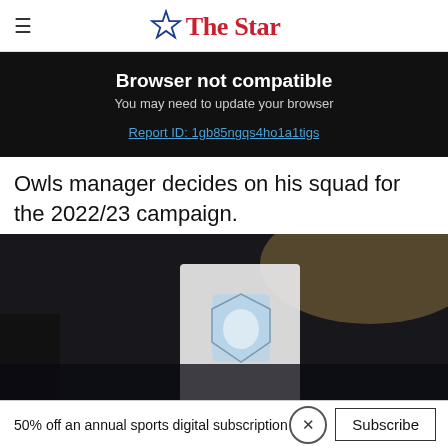The Star
Browser not compatible
You may need to update your browser
Report ID: 1gb85ngqs4ho1a1tigs
Owls manager decides on his squad for the 2022/23 campaign.
[Figure (photo): A Sheffield Wednesday club crest/flag photographed at a stadium with stadium seating visible in the background]
50% off an annual sports digital subscription  Subscribe